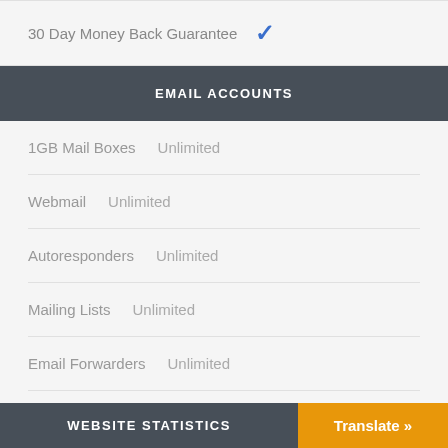30 Day Money Back Guarantee ✓
EMAIL ACCOUNTS
1GB Mail Boxes   Unlimited
Webmail   Unlimited
Autoresponders   Unlimited
Mailing Lists   Unlimited
Email Forwarders   Unlimited
(POP3 & IMAP) ✓
WEBSITE STATISTICS
Translate »